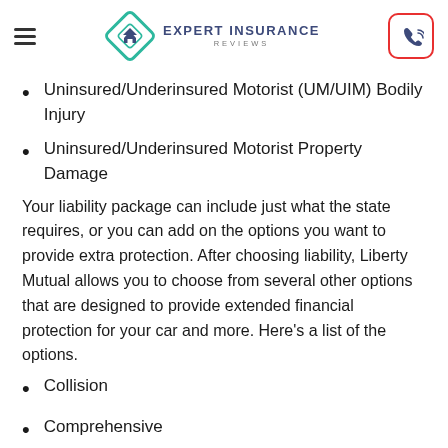Expert Insurance Reviews
Uninsured/Underinsured Motorist (UM/UIM) Bodily Injury
Uninsured/Underinsured Motorist Property Damage
Your liability package can include just what the state requires, or you can add on the options you want to provide extra protection. After choosing liability, Liberty Mutual allows you to choose from several other options that are designed to provide extended financial protection for your car and more. Here's a list of the options.
Collision
Comprehensive